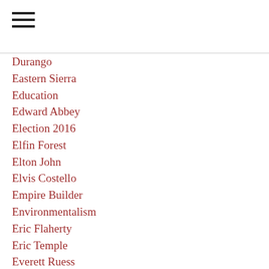[Figure (other): Hamburger menu icon with three horizontal lines]
Durango
Eastern Sierra
Education
Edward Abbey
Election 2016
Elfin Forest
Elton John
Elvis Costello
Empire Builder
Environmentalism
Eric Flaherty
Eric Temple
Everett Ruess
Fargo
Fauna
Favorite Photos
Finley
Fishing
Flodabiddle